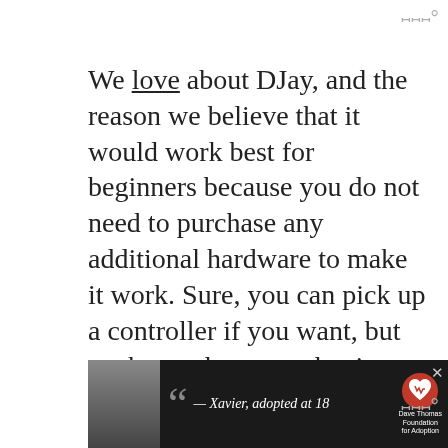We love about DJay, and the reason we believe that it would work best for beginners because you do not need to purchase any additional hardware to make it work. Sure, you can pick up a controller if you want, but we know that many beginners may not exactly want to be spending a lot of money right off the bat. Luckily for them, everything about DJay can be controlled from your mobile device.
Check out – Can You DJ Using Spotify?  Not
[Figure (other): Advertisement banner for Dave Thomas Foundation for Adoption featuring a person wearing a hat and quote '— Xavier, adopted at 18']